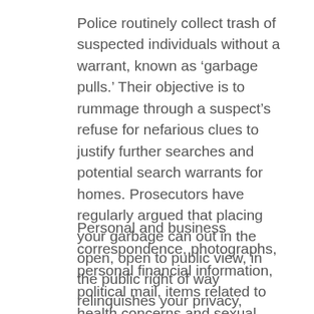Police routinely collect trash of suspected individuals without a warrant, known as 'garbage pulls.' Their objective is to rummage through a suspect's refuse for nefarious clues to justify further searches and potential search warrants for homes. Prosecutors have regularly argued that placing your garbage can out in the open, open to public view, in the public right of way relinquishes your privacy, possessory interest for what is found inside.
Personal and business correspondence, photographs, personal financial information, political mail, items related to health concerns and sexual practices are all routinely found in